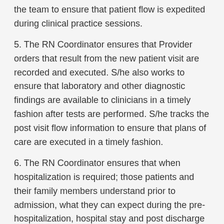the team to ensure that patient flow is expedited during clinical practice sessions.
5. The RN Coordinator ensures that Provider orders that result from the new patient visit are recorded and executed. S/he also works to ensure that laboratory and other diagnostic findings are available to clinicians in a timely fashion after tests are performed. S/he tracks the post visit flow information to ensure that plans of care are executed in a timely fashion.
6. The RN Coordinator ensures that when hospitalization is required; those patients and their family members understand prior to admission, what they can expect during the pre-hospitalization, hospital stay and post discharge period. The RN Coordinator is expected to troubleshoot any problems that patients and their families may encounter in preparing for or during their hospital stay.
General Clinical/Patient Care